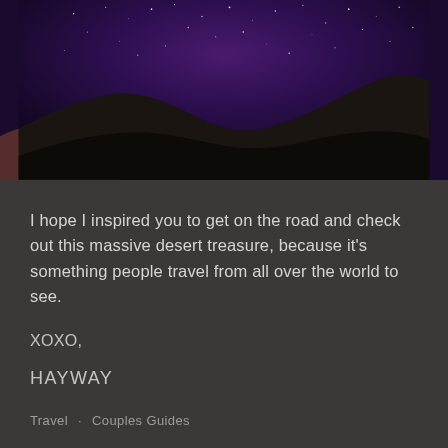[Figure (photo): Night sky photograph showing a starry purple-hued sky over dark silhouetted hills/mountains in a desert landscape]
I hope I inspired you to get on the road and check out this massive desert treasure, because it's something people travel from all over the world to see.
XOXO,
HAYWAY
Travel  ·  Couples Guides